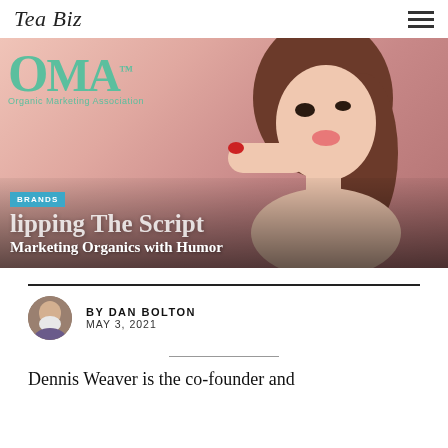Tea Biz
[Figure (photo): Hero image showing a woman with red nails touching her lips against a pink background, with OMA Organic Marketing Association logo overlay. Text overlay reads 'BRANDS Flipping The Script Marketing Organics with Humor']
BY DAN BOLTON
MAY 3, 2021
Dennis Weaver is the co-founder and